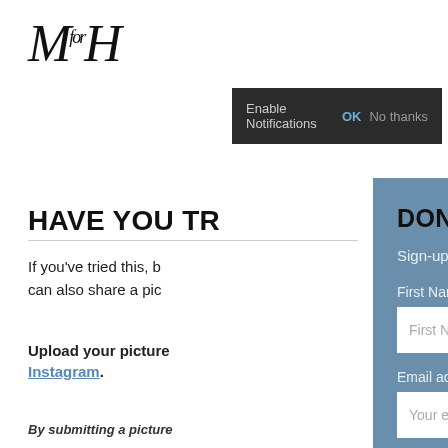MfH logo
Enable Notifications   OK   No thanks
HAVE YOU TR
If you've tried this, b... can also share a pic...
Upload your picture... Instagram.
By submitting a picture...
General Interactivity Ter...
Content Upload Terms &... Policy.
Don't forget to follow us...
DON'T MISS OUT!
Sign-up to our free newsletter...
First Name
Email address:
SIGN UP